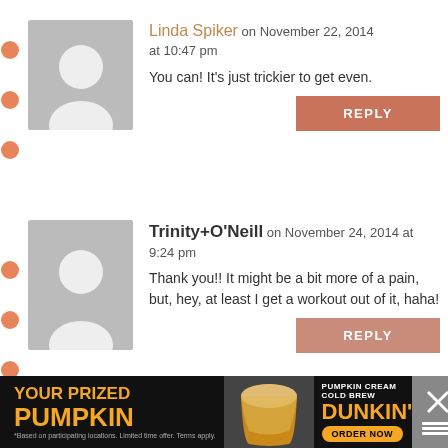Linda Spiker on November 22, 2014 at 10:47 pm — You can! It's just trickier to get even.
Trinity+O'Neill on November 24, 2014 at 9:24 pm — Thank you!! It might be a bit more of a pain, but, hey, at least I get a workout out of it, haha!
[Figure (infographic): Dunkin' Pumpkin Cream Cold Brew advertisement banner with text 'YOUR PRIZED PUMPKIN' and 'ORDER NOW']